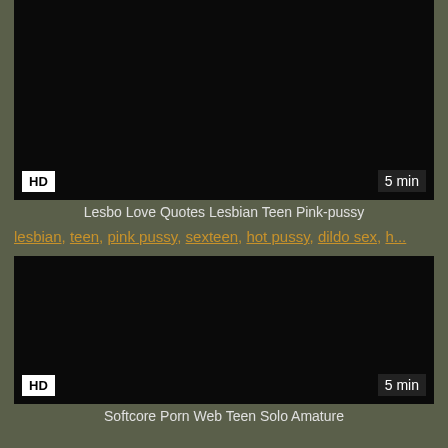[Figure (screenshot): Black video thumbnail with HD badge in bottom-left and '5 min' badge in bottom-right]
Lesbo Love Quotes Lesbian Teen Pink-pussy
lesbian, teen, pink pussy, sexteen, hot pussy, dildo sex, h...
[Figure (screenshot): Black video thumbnail with HD badge in bottom-left and '5 min' badge in bottom-right]
Softcore Porn Web Teen Solo Amature